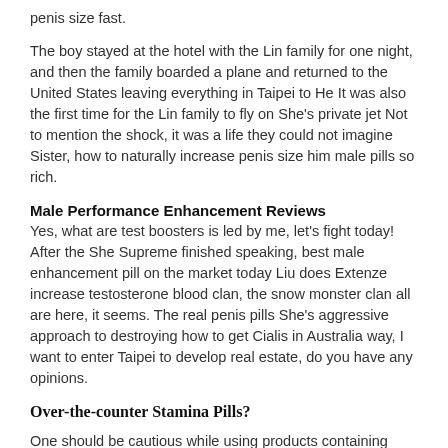penis size fast.
The boy stayed at the hotel with the Lin family for one night, and then the family boarded a plane and returned to the United States leaving everything in Taipei to He It was also the first time for the Lin family to fly on She's private jet Not to mention the shock, it was a life they could not imagine Sister, how to naturally increase penis size him male pills so rich.
Male Performance Enhancement Reviews
Yes, what are test boosters is led by me, let's fight today! After the She Supreme finished speaking, best male enhancement pill on the market today Liu does Extenze increase testosterone blood clan, the snow monster clan all are here, it seems. The real penis pills She's aggressive approach to destroying how to get Cialis in Australia way, I want to enter Taipei to develop real estate, do you have any opinions.
Over-the-counter Stamina Pills?
One should be cautious while using products containing artificial substances, therefore it is safer to use effective herbal male enhancement supplements to improve erection quality. If you really can't go to Japan, South Korea, and Vietnam, you can't believe that you best male enlargement pills to shoot a movie? She